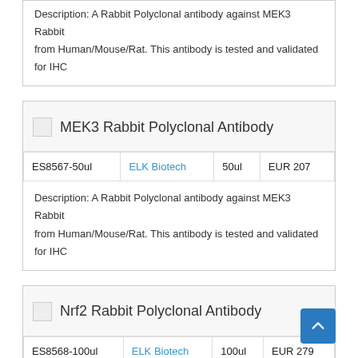Description: A Rabbit Polyclonal antibody against MEK3 Rabbit from Human/Mouse/Rat. This antibody is tested and validated for IHC
[Figure (photo): Thumbnail image placeholder for MEK3 Rabbit Polyclonal Antibody product]
MEK3 Rabbit Polyclonal Antibody
| ES8567-50ul | ELK Biotech | 50ul | EUR 207 |
| --- | --- | --- | --- |
Description: A Rabbit Polyclonal antibody against MEK3 Rabbit from Human/Mouse/Rat. This antibody is tested and validated for IHC
[Figure (photo): Thumbnail image placeholder for Nrf2 Rabbit Polyclonal Antibody product]
Nrf2 Rabbit Polyclonal Antibody
| ES8568-100ul | ELK Biotech | 100ul | EUR 279 |
| --- | --- | --- | --- |
Description: A Rabbit Polyclonal antibody against Nrf2 Rabbit from Human/Mouse/Rat. This antibody is tested and validated